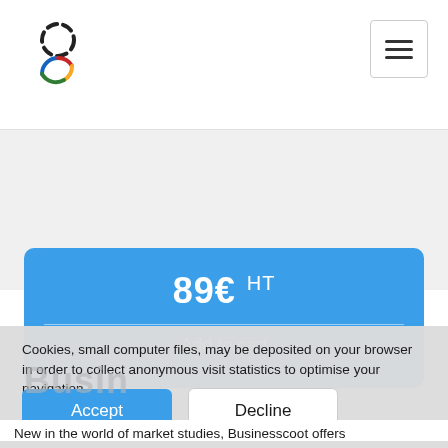[Figure (logo): Circular dashed logo with four colored quadrants (black, blue, red, green/yellow) arranged in overlapping figure-eight pattern]
[Figure (other): Hamburger menu icon (three horizontal bars) inside a rounded rectangle button]
89€ HT
Add to cart
Cookies, small computer files, may be deposited on your browser in order to collect anonymous visit statistics to optimise your navigation.
Learn more
Accept
Decline
New in the world of market studies, Businesscoot offers